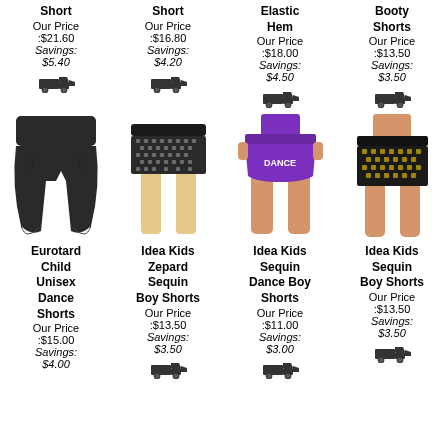Short
Our Price :$21.60
Savings: $5.40
Short
Our Price :$16.80
Savings: $4.20
Elastic Hem
Our Price :$18.00
Savings: $4.50
Booty Shorts
Our Price :$13.50
Savings: $3.50
[Figure (photo): Black child unisex dance shorts]
[Figure (photo): Idea Kids Zepard sequin boy shorts - black sequin]
[Figure (photo): Idea Kids sequin dance boy shorts - purple with DANCE text]
[Figure (photo): Idea Kids sequin boy shorts - black sparkle]
Eurotard Child Unisex Dance Shorts
Our Price :$15.00
Savings: $4.00
Idea Kids Zepard Sequin Boy Shorts
Our Price :$13.50
Savings: $3.50
Idea Kids Sequin Dance Boy Shorts
Our Price :$11.00
Savings: $3.00
Idea Kids Sequin Boy Shorts
Our Price :$13.50
Savings: $3.50